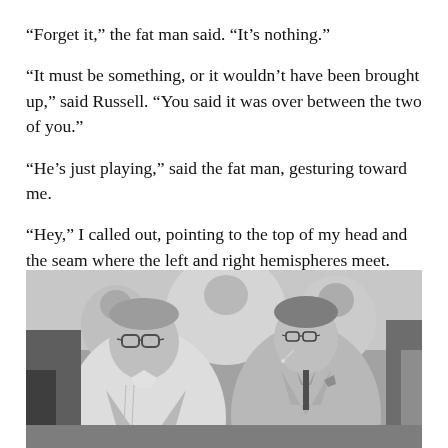“Forget it,” the fat man said. “It’s nothing.”
“It must be something, or it wouldn’t have been brought up,” said Russell. “You said it was over between the two of you.”
“He’s just playing,” said the fat man, gesturing toward me.
“Hey,” I called out, pointing to the top of my head and the seam where the left and right hemispheres meet.
[Figure (photo): Black and white photograph of two older men, one on the left wearing glasses and a white short-sleeve shirt, the other on the right wearing glasses, smoking a cigarette, and wearing a light suit jacket with a pocket square. People visible in the background.]